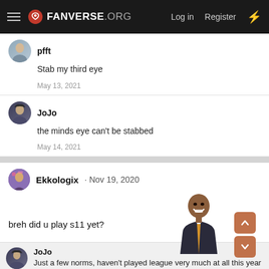FANVERSE.ORG  Log in  Register
pfft
Stab my third eye
May 13, 2021
JoJo
the minds eye can't be stabbed
May 14, 2021
Ekkologix · Nov 19, 2020
[Figure (photo): Meme image of a smiling man in a suit]
breh did u play s11 yet?
JoJo
Just a few norms, haven't played league very much at all this year